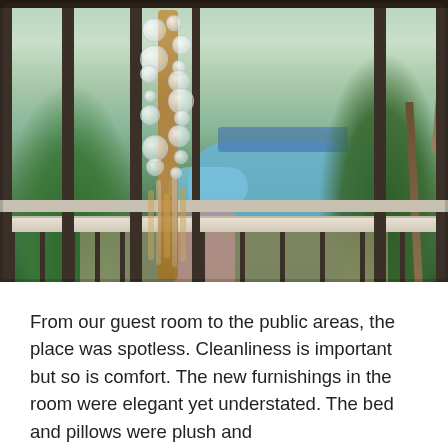[Figure (photo): Interior atrium or balcony view of a hotel resort. In the foreground is a decorative glass sculpture/chandelier with amber and clear glass bubbles and hanging glass strands, attached to a structural column. Behind it are large floor-to-ceiling windows showing a resort pool area with blue water, lounge chairs, palm trees, lush tropical greenery, and a walkway. A white balcony railing runs horizontally across the middle of the image.]
From our guest room to the public areas, the place was spotless. Cleanliness is important but so is comfort. The new furnishings in the room were elegant yet understated. The bed and pillows were plush and